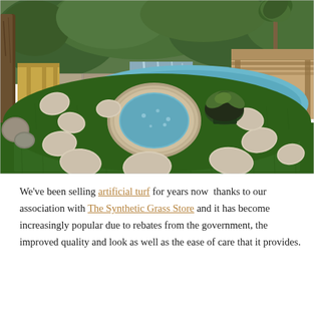[Figure (photo): Outdoor backyard with artificial turf lawn, large circular spa/hot tub surrounded by irregular stepping stones, a pool with waterfall feature in the background, stone retaining walls, terracotta-roofed pergola, potted plants, and lush hillside landscaping.]
We've been selling artificial turf for years now  thanks to our association with The Synthetic Grass Store and it has become increasingly popular due to rebates from the government, the improved quality and look as well as the ease of care that it provides.